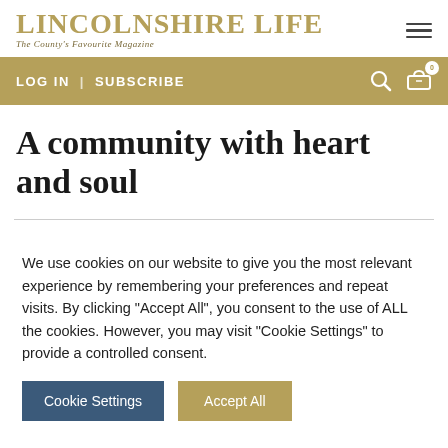LINCOLNSHIRE LIFE | The County's Favourite Magazine
LOG IN | SUBSCRIBE
A community with heart and soul
We use cookies on our website to give you the most relevant experience by remembering your preferences and repeat visits. By clicking "Accept All", you consent to the use of ALL the cookies. However, you may visit "Cookie Settings" to provide a controlled consent.